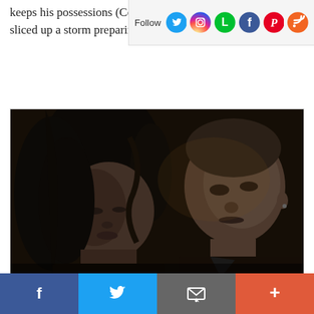keeps his possessions (Colón) whom he scold just sliced up a storm preparing his dinner.
[Figure (photo): A dark, moody film still showing a woman with long dark curly hair looking down and a bald man looking at her in a dimly lit scene.]
The type of smooth operator who would prefer that his friends assume he's Italian rather than Latino--Diego is a man whom Colón's Dani accuses of still being at the beck-
Facebook share button, Twitter share button, Email share button, More share button